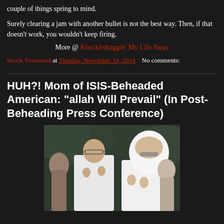couple of things spring to mind.
Surely clearing a jam with another bullet is not the best way. Then, if that doesn't work, you wouldn't keep firing.
More @ Knuckledraggin' My Life Away
Brock Townsend at Tuesday, November 18, 2014   No comments:
HUH?! Mom of ISIS-Beheaded American: “allah Will Prevail” (In Post-Beheading Press Conference)
[Figure (photo): A man in a white shirt with glasses and a woman wearing a white hijab, both with hands raised in prayer, with other people visible in the background]